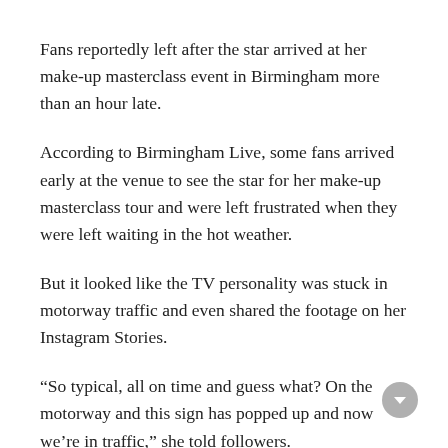Fans reportedly left after the star arrived at her make-up masterclass event in Birmingham more than an hour late.
According to Birmingham Live, some fans arrived early at the venue to see the star for her make-up masterclass tour and were left frustrated when they were left waiting in the hot weather.
But it looked like the TV personality was stuck in motorway traffic and even shared the footage on her Instagram Stories.
“So typical, all on time and guess what? On the motorway and this sign has popped up and now we’re in traffic,” she told followers.